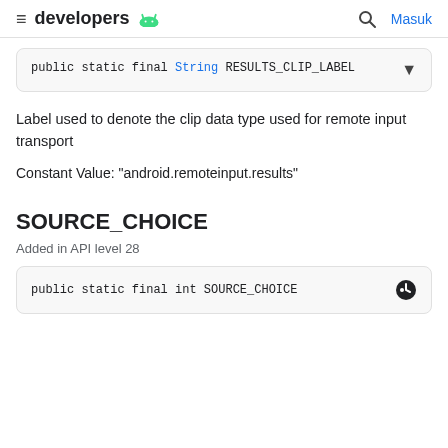developers
public static final String RESULTS_CLIP_LABEL
Label used to denote the clip data type used for remote input transport
Constant Value: "android.remoteinput.results"
SOURCE_CHOICE
Added in API level 28
public static final int SOURCE_CHOICE